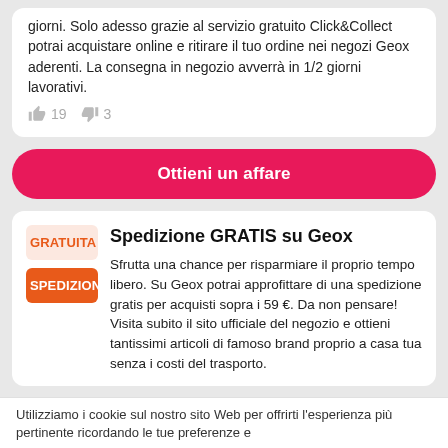giorni. Solo adesso grazie al servizio gratuito Click&Collect potrai acquistare online e ritirare il tuo ordine nei negozi Geox aderenti. La consegna in negozio avverrà in 1/2 giorni lavorativi.
👍 19  👎 3
Ottieni un affare
Spedizione GRATIS su Geox
GRATUITA
SPEDIZIONE
Sfrutta una chance per risparmiare il proprio tempo libero. Su Geox potrai approfittare di una spedizione gratis per acquisti sopra i 59 €. Da non pensare! Visita subito il sito ufficiale del negozio e ottieni tantissimi articoli di famoso brand proprio a casa tua senza i costi del trasporto.
Utilizziamo i cookie sul nostro sito Web per offrirti l'esperienza più pertinente ricordando le tue preferenze e